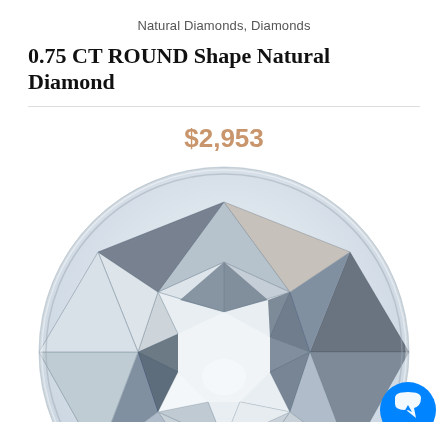Natural Diamonds, Diamonds
0.75 CT ROUND Shape Natural Diamond
$2,953
[Figure (photo): Close-up top-down view of a round brilliant cut natural diamond showing facet reflections in white, grey, and blue tones, cropped so only the upper portion of the diamond is fully visible]